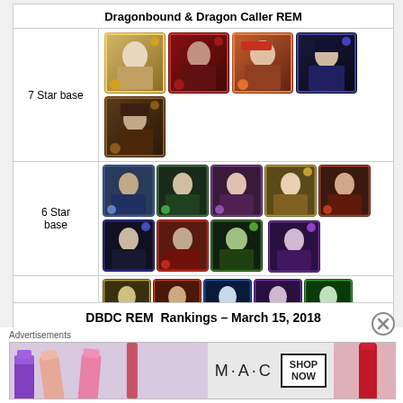Dragonbound & Dragon Caller REM
| Tier | Cards |
| --- | --- |
| 7 Star base | [5 character card icons] |
| 6 Star base | [9 character card icons] |
| 5 Star base | [7 character card icons] |
DBDC REM  Rankings – March 15, 2018
| Tier | Cards |
| --- | --- |
| S | [4 character card icons] |
Advertisements
[Figure (photo): MAC Cosmetics advertisement showing lipsticks with SHOP NOW call to action]